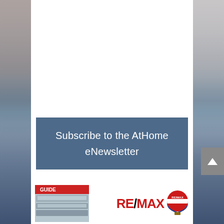[Figure (photo): Background landscape photo showing mountains with snow-capped peaks, a lake or river in the foreground, with a warm sky. The image appears blurred/faded on left and right sides with a white center panel overlay.]
Subscribe to the AtHome eNewsletter
[Figure (logo): Guide book thumbnail showing a real estate guide publication cover with landscape imagery]
[Figure (logo): RE/MAX logo with red RE/MAX text and the RE/MAX hot air balloon logo in red, white, and blue]